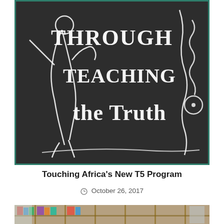[Figure (photo): Chalkboard with white chalk drawings and text reading 'Through Teaching the Truth', with decorative chalk illustrations of figures on either side]
Touching Africa's New T5 Program
October 26, 2017
[Figure (photo): Partial view of a room with bookshelves and other items, likely an educational or library setting]